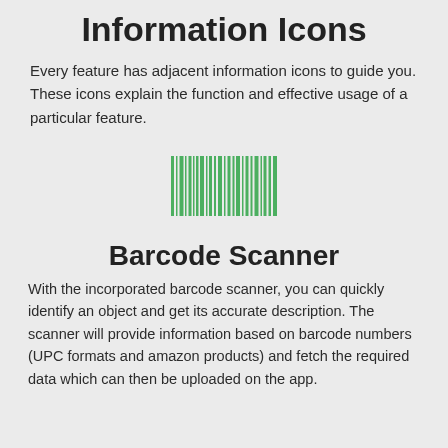Information Icons
Every feature has adjacent information icons to guide you. These icons explain the function and effective usage of a particular feature.
[Figure (illustration): Green barcode icon centered on the page]
Barcode Scanner
With the incorporated barcode scanner, you can quickly identify an object and get its accurate description. The scanner will provide information based on barcode numbers (UPC formats and amazon products) and fetch the required data which can then be uploaded on the app.